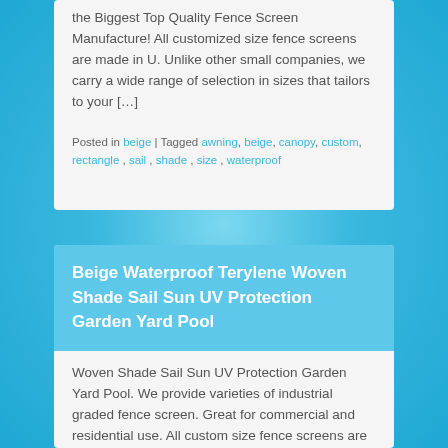the Biggest Top Quality Fence Screen Manufacture! All customized size fence screens are made in U. Unlike other small companies, we carry a wide range of selection in sizes that tailors to your […]
Posted in beige | Tagged awning, beige, canopy, custom, rectangle, sail, shade, size, waterproof
Beige Waterproof Terylene Woven Shade Sail Sun UV Protection Garden Yard Pool
Woven Shade Sail Sun UV Protection Garden Yard Pool. We provide varieties of industrial graded fence screen. Great for commercial and residential use. All custom size fence screens are